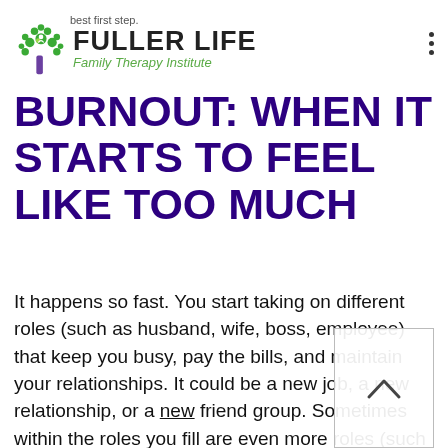best first step.
[Figure (logo): Fuller Life Family Therapy Institute logo with a stylized tree made of green circles and a purple trunk, next to the text FULLER LIFE in bold and Family Therapy Institute in green italic]
BURNOUT: WHEN IT STARTS TO FEEL LIKE TOO MUCH
It happens so fast. You start taking on different roles (such as husband, wife, boss, employee) that keep you busy, pay the bills, and maintain your relationships. It could be a new job, a new relationship, or a new friend group. Sometimes within the roles you fill are even more roles (such as having multiple responsibilities within one job). Things go well for a while, but then you